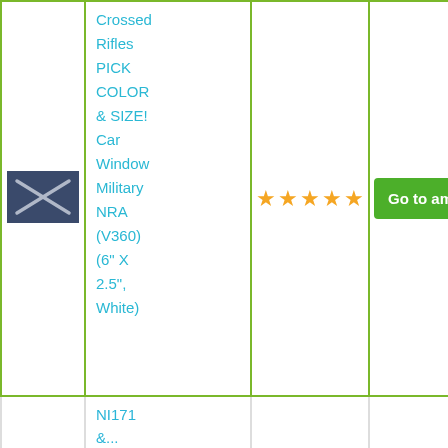| Image | Product Name | Rating | Link |
| --- | --- | --- | --- |
| [image] | Crossed Rifles PICK COLOR & SIZE! Car Window Military NRA (V360) (6" X 2.5", White) | ★★★★★ | Go to amazon |
|  | NI171 &... |  |  |